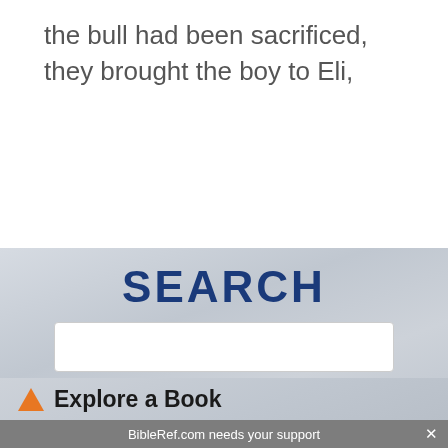the bull had been sacrificed, they brought the boy to Eli,
SEARCH
[Figure (other): Search input box on a cloudy grey background]
Explore a Book
BibleRef.com needs your support
Donate